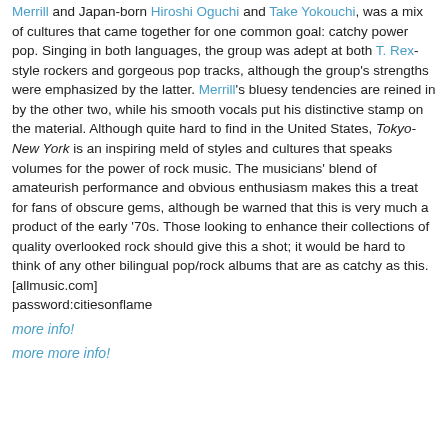Merrill and Japan-born Hiroshi Oguchi and Take Yokouchi, was a mix of cultures that came together for one common goal: catchy power pop. Singing in both languages, the group was adept at both T. Rex-style rockers and gorgeous pop tracks, although the group's strengths were emphasized by the latter. Merrill's bluesy tendencies are reined in by the other two, while his smooth vocals put his distinctive stamp on the material. Although quite hard to find in the United States, Tokyo-New York is an inspiring meld of styles and cultures that speaks volumes for the power of rock music. The musicians' blend of amateurish performance and obvious enthusiasm makes this a treat for fans of obscure gems, although be warned that this is very much a product of the early '70s. Those looking to enhance their collections of quality overlooked rock should give this a shot; it would be hard to think of any other bilingual pop/rock albums that are as catchy as this.
[allmusic.com]
password:citiesonflame
more info!
more more info!